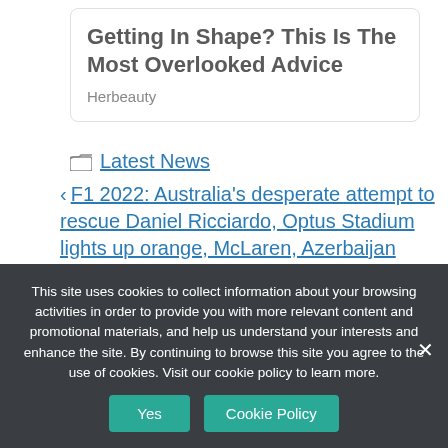Getting In Shape? This Is The Most Overlooked Advice
Herbeauty
Latest News
F1 2022: Australia's desperate attempt to rescue Daniel Ricciardo, Optus Stadium lights up orange, McLaren, Azerbaijan Grand Prix
This site uses cookies to collect information about your browsing activities in order to provide you with more relevant content and promotional materials, and help us understand your interests and enhance the site. By continuing to browse this site you agree to the use of cookies. Visit our cookie policy to learn more.